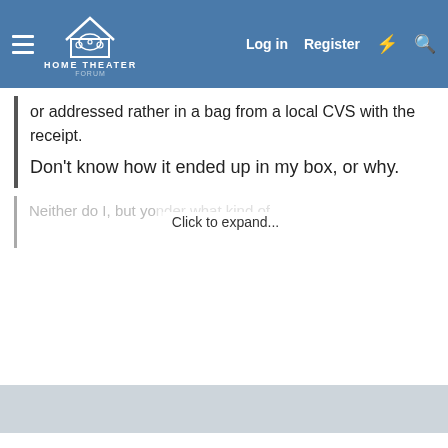Home Theater Forum — Log in | Register
or addressed  rather in a bag from a local CVS with the receipt.
Don't know how it ended up in my box, or why.
Neither do I, but yo... [Click to expand...] ...nder what kind of